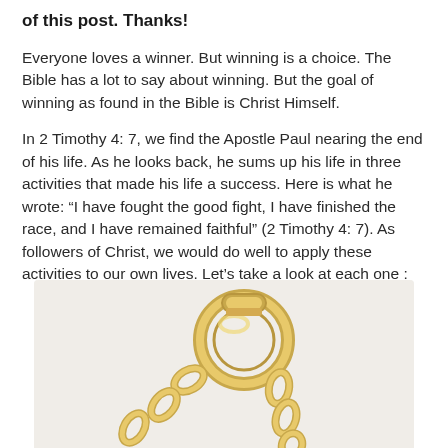of this post. Thanks!
Everyone loves a winner. But winning is a choice. The Bible has a lot to say about winning. But the goal of winning as found in the Bible is Christ Himself.
In 2 Timothy 4: 7, we find the Apostle Paul nearing the end of his life. As he looks back, he sums up his life in three activities that made his life a success. Here is what he wrote: “I have fought the good fight, I have finished the race, and I have remained faithful” (2 Timothy 4: 7). As followers of Christ, we would do well to apply these activities to our own lives. Let’s take a look at each one :
[Figure (photo): Gold chain link or clasp against a light background, shown from below/partial view.]